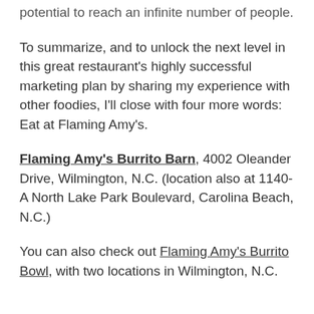potential to reach an infinite number of people.
To summarize, and to unlock the next level in this great restaurant's highly successful marketing plan by sharing my experience with other foodies, I'll close with four more words: Eat at Flaming Amy's.
Flaming Amy's Burrito Barn, 4002 Oleander Drive, Wilmington, N.C. (location also at 1140-A North Lake Park Boulevard, Carolina Beach, N.C.)
You can also check out Flaming Amy's Burrito Bowl, with two locations in Wilmington, N.C.